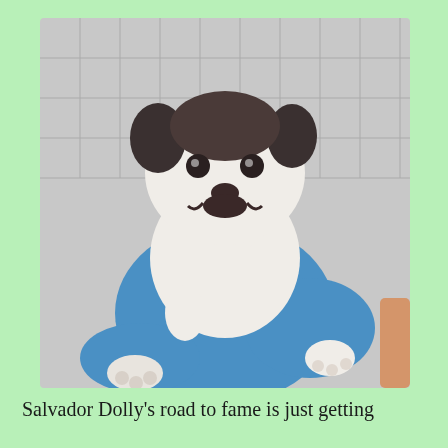[Figure (photo): A white puppy with a distinctive black mustache-like marking on its face is being held up by a person wearing blue medical/surgical gloves. The puppy has dark ears and markings on its head. The background shows a tiled wall. The puppy's front paws are dangling and a person's bare arm is visible on the right side.]
Salvador Dolly's road to fame is just getting